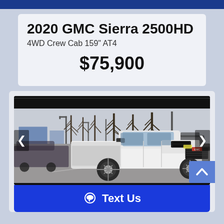2020 GMC Sierra 2500HD
4WD Crew Cab 159" AT4
$75,900
[Figure (photo): White 2020 GMC Sierra 2500HD AT4 pickup truck parked in a dealership lot, front 3/4 view, bare winter trees visible in background]
Text Us